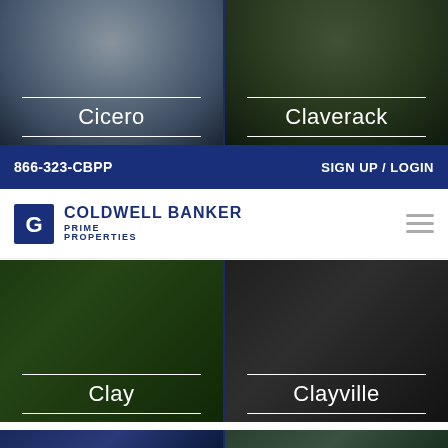[Figure (photo): Top-left property photo card with label Cicero]
Cicero
[Figure (photo): Top-right property photo card with label Claverack]
Claverack
866-323-CBPP    SIGN UP / LOGIN
[Figure (logo): Coldwell Banker Prime Properties logo]
[Figure (photo): Middle-left property photo card with label Clay]
Clay
[Figure (photo): Middle-right property photo card with label Clayville]
Clayville
[Figure (photo): Bottom-left property photo card, partially visible]
[Figure (photo): Bottom-right property photo card, partially visible]